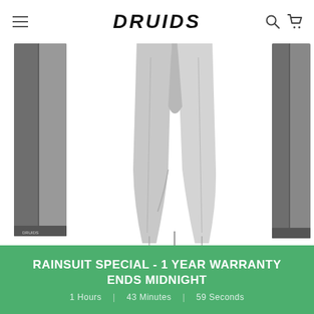DRUIDS
[Figure (photo): Three product images of grey trousers/pants: left shows dark grey trousers partially cropped, center shows light grey Mens Clima Trousers Grey from front, right shows another grey contrast trouser partially cropped]
T $75.00   MENS CLIMA TROUSERS GREY   $78.00   CONTRAS GREY
or more   $46.80 when you buy 2 or more products   $16.80 wh products
RAINSUIT SPECIAL - 1 YEAR WARRANTY ENDS MIDNIGHT
1 Hours   |   43 Minutes   |   59 Seconds